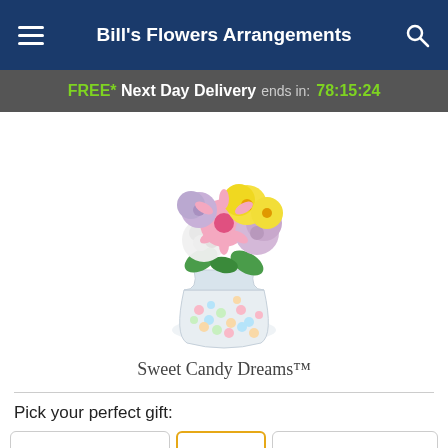Bill's Flowers Arrangements
FREE* Next Day Delivery ends in: 78:15:24
[Figure (photo): A floral arrangement called Sweet Candy Dreams — pink gerbera daisies, lavender mums, yellow daffodils, and white hydrangeas arranged in a clear vase filled with colorful candy hearts.]
Sweet Candy Dreams™
Pick your perfect gift: